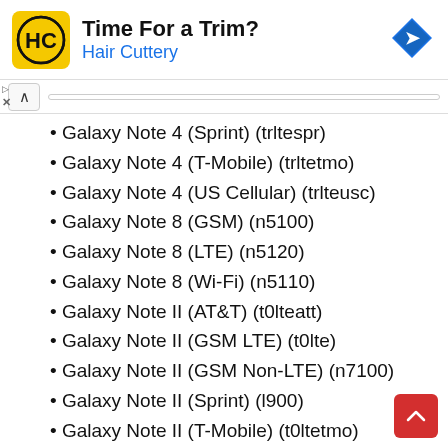[Figure (other): Advertisement banner for Hair Cuttery with logo, text 'Time For a Trim?' and 'Hair Cuttery', and a navigation icon]
Galaxy Note 4 (Sprint) (trltespr)
Galaxy Note 4 (T-Mobile) (trltetmo)
Galaxy Note 4 (US Cellular) (trlteusc)
Galaxy Note 8 (GSM) (n5100)
Galaxy Note 8 (LTE) (n5120)
Galaxy Note 8 (Wi-Fi) (n5110)
Galaxy Note II (AT&T) (t0lteatt)
Galaxy Note II (GSM LTE) (t0lte)
Galaxy Note II (GSM Non-LTE) (n7100)
Galaxy Note II (Sprint) (l900)
Galaxy Note II (T-Mobile) (t0ltetmo)